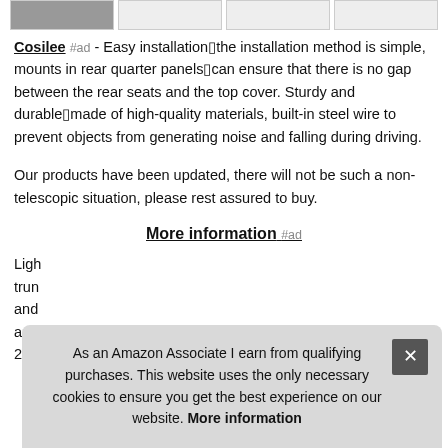[Figure (photo): Row of four product thumbnail images at the top of the page, the first showing a dark-colored item]
Cosilee #ad - Easy installation⬛the installation method is simple, mounts in rear quarter panels⬛can ensure that there is no gap between the rear seats and the top cover. Sturdy and durable⬛made of high-quality materials, built-in steel wire to prevent objects from generating noise and falling during driving.
Our products have been updated, there will not be such a non-telescopic situation, please rest assured to buy.
More information #ad
Ligh... trun... and... app... 2021. Retractable design⬛easy to pick and place goods, can
As an Amazon Associate I earn from qualifying purchases. This website uses the only necessary cookies to ensure you get the best experience on our website. More information